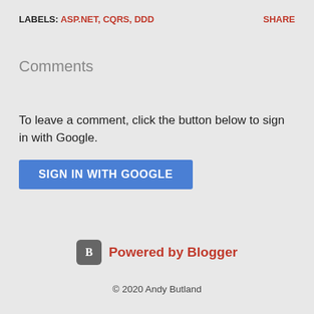LABELS: ASP.NET, CQRS, DDD    SHARE
Comments
To leave a comment, click the button below to sign in with Google.
SIGN IN WITH GOOGLE
Powered by Blogger
© 2020 Andy Butland